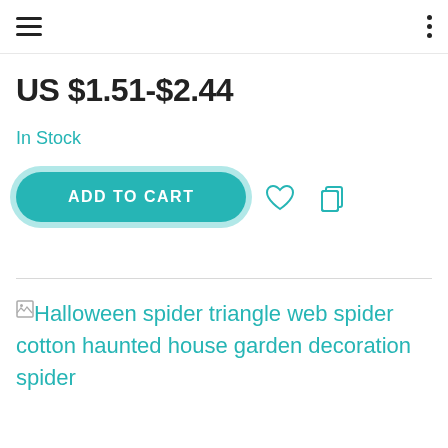US $1.51-$2.44
In Stock
ADD TO CART
[Figure (illustration): Broken image placeholder with alt text: Halloween spider triangle web spider cotton haunted house garden decoration spider]
Halloween spider triangle web spider cotton haunted house garden decoration spider